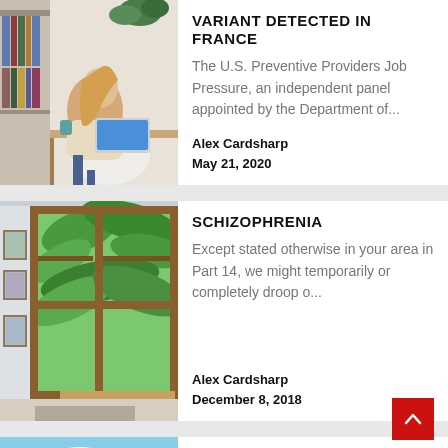[Figure (photo): Woman sitting at a desk working on a laptop, surrounded by plants and books.]
VARIANT DETECTED IN FRANCE
The U.S. Preventive Providers Job Pressure, an independent panel appointed by the Department of...
Alex Cardsharp
May 21, 2020
[Figure (photo): Interior room with large wooden-framed glass doors/windows opening to tropical greenery, with framed pictures on walls.]
SCHIZOPHRENIA
Except stated otherwise in your area in Part 14, we might temporarily or completely droop o...
Alex Cardsharp
December 8, 2018
[Figure (photo): Outdoor scene with blue sky, clouds, and trees.]
FITNESS
The authors recommend all